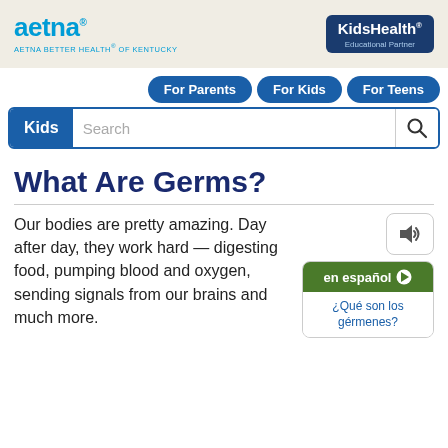aetna | AETNA BETTER HEALTH® OF KENTUCKY | KidsHealth Educational Partner
For Parents | For Kids | For Teens
Kids Search
What Are Germs?
Our bodies are pretty amazing. Day after day, they work hard — digesting food, pumping blood and oxygen, sending signals from our brains and much more.
en español ▶ ¿Qué son los gérmenes?